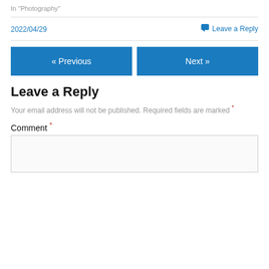In "Photography"
2022/04/29
Leave a Reply
« Previous
Next »
Leave a Reply
Your email address will not be published. Required fields are marked *
Comment *